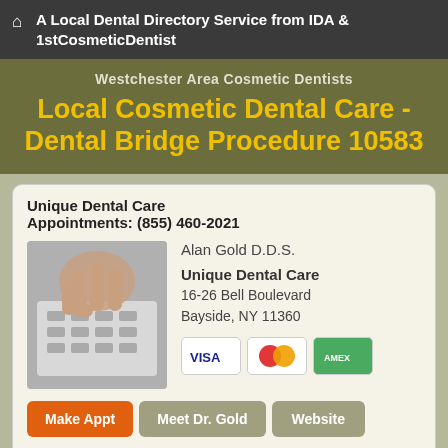A Local Dental Directory Service from IDA & 1stCosmeticDentist
Westchester Area Cosmetic Dentists
Local Cosmetic Dental Care - Dental Bridge Procedure 10583
Unique Dental Care
Appointments: (855) 460-2021
[Figure (photo): Hand pressing keys on a telephone keypad]
Alan Gold D.D.S.
Unique Dental Care
16-26 Bell Boulevard
Bayside, NY 11360
[Figure (other): Payment method icons: Visa, MasterCard, and American Express]
Make Appt   Meet Dr. Gold   Website
more info ...